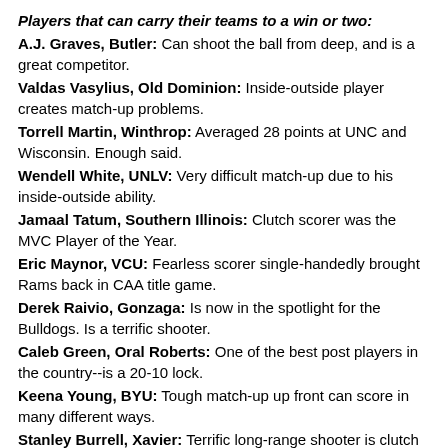Players that can carry their teams to a win or two:
A.J. Graves, Butler: Can shoot the ball from deep, and is a great competitor.
Valdas Vasylius, Old Dominion: Inside-outside player creates match-up problems.
Torrell Martin, Winthrop: Averaged 28 points at UNC and Wisconsin. Enough said.
Wendell White, UNLV: Very difficult match-up due to his inside-outside ability.
Jamaal Tatum, Southern Illinois: Clutch scorer was the MVC Player of the Year.
Eric Maynor, VCU: Fearless scorer single-handedly brought Rams back in CAA title game.
Derek Raivio, Gonzaga: Is now in the spotlight for the Bulldogs. Is a terrific shooter.
Caleb Green, Oral Roberts: One of the best post players in the country--is a 20-10 lock.
Keena Young, BYU: Tough match-up up front can score in many different ways.
Stanley Burrell, Xavier: Terrific long-range shooter is clutch late in the game.